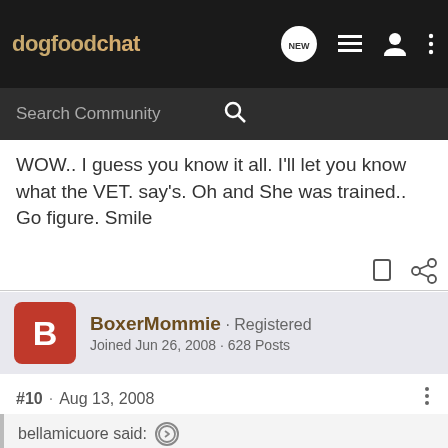dogfoodchat
Search Community
WOW.. I guess you know it all. I'll let you know what the VET. say's. Oh and She was trained.. Go figure. Smile
BoxerMommie · Registered
Joined Jun 26, 2008 · 628 Posts
#10 · Aug 13, 2008
bellamicuore said: